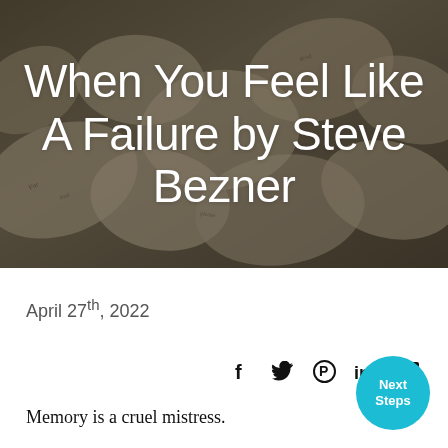[Figure (photo): Background photo of crumpled paper balls with printed text, overlaid with white large title text reading 'When You Feel Like A Failure by Steve Bezner']
When You Feel Like A Failure by Steve Bezner
April 27th, 2022
[Figure (infographic): Social share icons: Facebook (f), Twitter (bird), Pinterest (P circle), LinkedIn (in), share/external link icon]
Memory is a cruel mistress.
[Figure (infographic): Teal circular button with white text reading 'Next Steps']